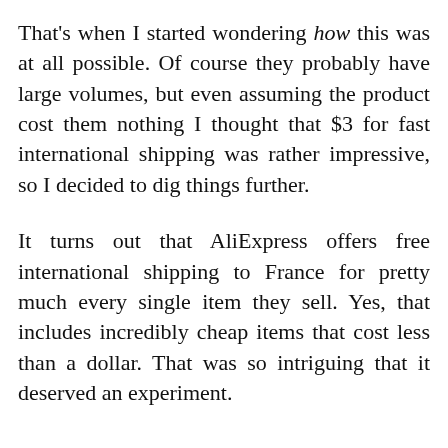That's when I started wondering how this was at all possible. Of course they probably have large volumes, but even assuming the product cost them nothing I thought that $3 for fast international shipping was rather impressive, so I decided to dig things further.
It turns out that AliExpress offers free international shipping to France for pretty much every single item they sell. Yes, that includes incredibly cheap items that cost less than a dollar. That was so intriguing that it deserved an experiment.